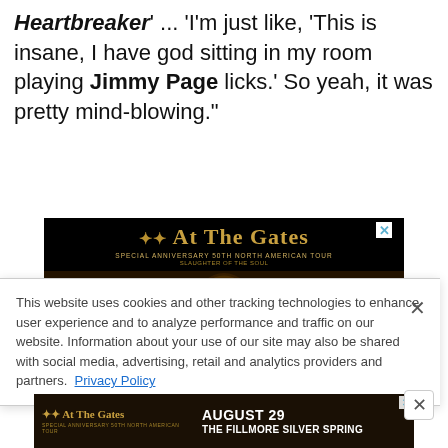Heartbreaker' ... 'I'm just like, 'This is insane, I have god sitting in my room playing Jimmy Page licks.' So yeah, it was pretty mind-blowing."
[Figure (photo): At The Gates band advertisement - dark background with ornate religious-style imagery, band logo in gold text reading 'At The Gates', subtext 'SPECIAL ANNIVERSARY 50TH NORTH AMERICAN TOUR' and 'SLAUGHTER OF THE SOUL']
This website uses cookies and other tracking technologies to enhance user experience and to analyze performance and traffic on our website. Information about your use of our site may also be shared with social media, advertising, retail and analytics providers and partners. Privacy Policy
[Figure (photo): At The Gates bottom banner advertisement showing logo and 'AUGUST 29 THE FILLMORE SILVER SPRING']